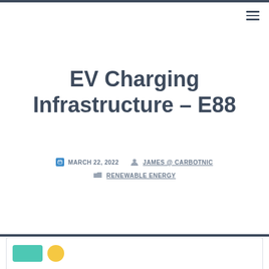EV Charging Infrastructure – E88
MARCH 22, 2022  JAMES @ CARBOTNIC  RENEWABLE ENERGY